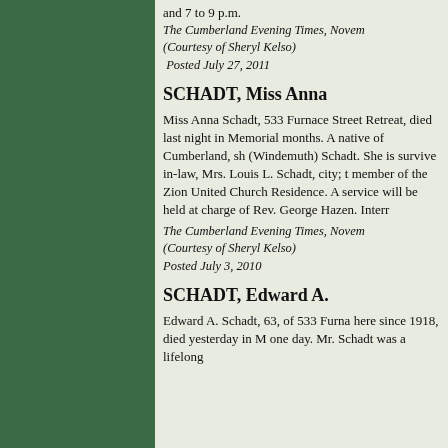and 7 to 9 p.m.
The Cumberland Evening Times, Novem
(Courtesy of Sheryl Kelso)
Posted July 27, 2011
SCHADT, Miss Anna
Miss Anna Schadt, 533 Furnace Stre Retreat, died last night in Memorial months. A native of Cumberland, sh (Windemuth) Schadt. She is survive in-law, Mrs. Louis L. Schadt, city; t member of the Zion United Church Residence. A service will be held at charge of Rev. George Hazen. Interr
The Cumberland Evening Times, Novem
(Courtesy of Sheryl Kelso)
Posted July 3, 2010
SCHADT, Edward A.
Edward A. Schadt, 63, of 533 Furna here since 1918, died yesterday in M one day. Mr. Schadt was a lifelong...